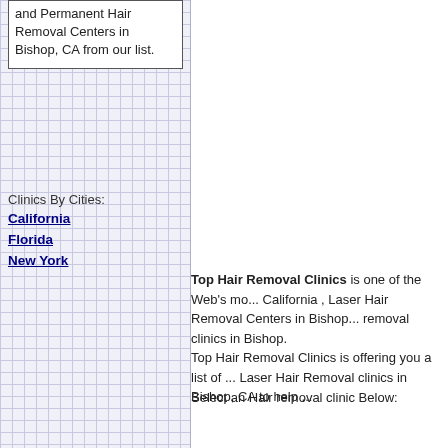and Permanent Hair Removal Centers in Bishop, CA from our list.
Clinics By Cities:
California
Florida
New York
Top Hair Removal Clinics is one of the Web's mo... California , Laser Hair Removal Centers in Bishop... removal clinics in Bishop. Top Hair Removal Clinics is offering you a list of ... Laser Hair Removal clinics in Bishop, CA to help ...
Select an Hair removal clinic Below: